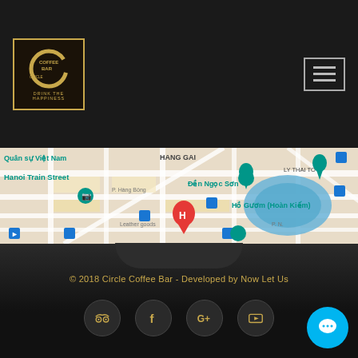[Figure (logo): Circle Coffee Bar logo — dark box with gold border, circular C shape with text COFFEE BAR CIRCLE and tagline DRINK THE HAPPINESS]
[Figure (other): Hamburger menu button (three horizontal bars) with gray border, top-right of header]
[Figure (map): Google Maps screenshot showing Hanoi Old Quarter area including Hang Gai, Hanoi Train Street, Den Ngoc Son, Ho Guom (Hoan Kiem), Ly Thai To, with a red H hotel pin in center]
© 2018 Circle Coffee Bar - Developed by Now Let Us
[Figure (infographic): Four dark circular social media icon buttons: TripAdvisor, Facebook, Google+, YouTube]
[Figure (other): Cyan/blue circular chat button bottom-right with speech bubble icon]